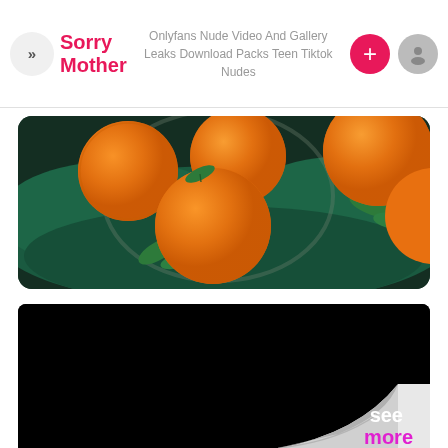Sorry Mother | Onlyfans Nude Video And Gallery Leaks Download Packs Teen Tiktok Nudes
[Figure (photo): Photo of oranges/tangerines with green leaves and a dark stick/cinnamon on a dark teal cloth background in a bowl]
[Figure (photo): Black image with a page-curl effect in the bottom right corner showing 'see more' text (white 'see', pink/magenta 'more')]